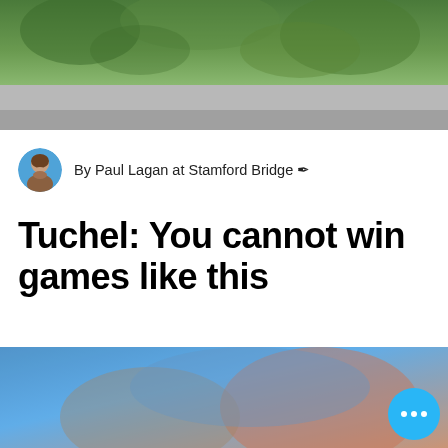[Figure (photo): Blurred outdoor photo with green foliage at the top and grey/blurred lower portion, partially cropped at top of page]
By Paul Lagan at Stamford Bridge ✒
Tuchel: You cannot win games like this
[Figure (photo): Blurred photo with blue and warm tones, partially cropped at bottom of page, with a cyan circular button with three dots overlay]